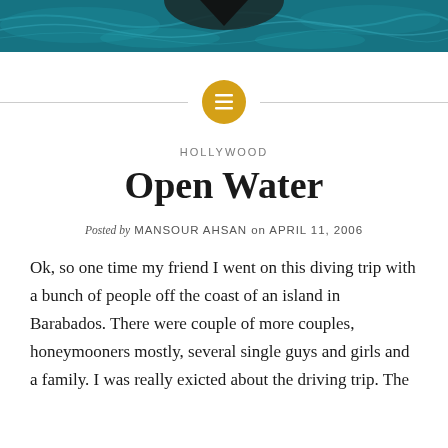[Figure (photo): Header image showing ocean water with a dark shark fin silhouette against a teal/blue water background.]
[Figure (other): Gold/yellow circle with a menu/text lines icon in the center, flanked by horizontal divider lines on each side.]
HOLLYWOOD
Open Water
Posted by MANSOUR AHSAN on APRIL 11, 2006
Ok, so one time my friend I went on this diving trip with a bunch of people off the coast of an island in Barabados. There were couple of more couples, honeymooners mostly, several single guys and girls and a family. I was really exicted about the driving trip. The